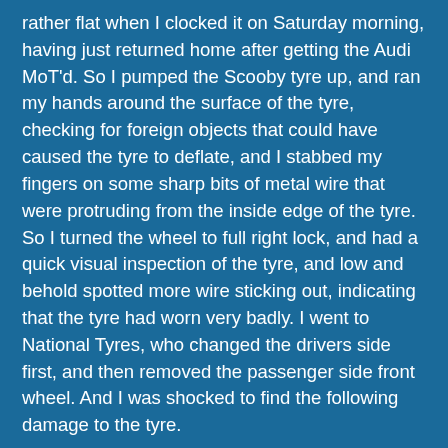rather flat when I clocked it on Saturday morning, having just returned home after getting the Audi MoT'd. So I pumped the Scooby tyre up, and ran my hands around the surface of the tyre, checking for foreign objects that could have caused the tyre to deflate, and I stabbed my fingers on some sharp bits of metal wire that were protruding from the inside edge of the tyre. So I turned the wheel to full right lock, and had a quick visual inspection of the tyre, and low and behold spotted more wire sticking out, indicating that the tyre had worn very badly. I went to National Tyres, who changed the drivers side first, and then removed the passenger side front wheel. And I was shocked to find the following damage to the tyre.
This is the same tyre that I was advised to change because the tread depth was between 2.5 and 3mm, at the service last Tuesday! No mention of holes in the